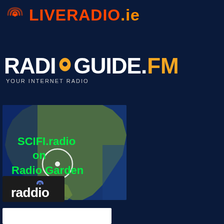[Figure (logo): LIVERADIO.ie logo with radio wave icon in red/orange and text in orange]
[Figure (logo): RADIOGUIDE.FM logo with location pin icon replacing the O, white and orange text, subtitle YOUR INTERNET RADIO]
[Figure (screenshot): SCIFI.radio on Radio Garden - satellite map view of North America with a circle marker and green text overlay]
[Figure (logo): raddio logo - white text on dark background with blue wifi/signal icon above second d]
[Figure (other): White rectangle at bottom, partially cut off]